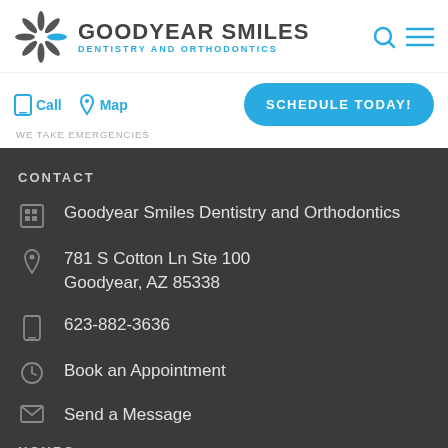[Figure (logo): Goodyear Smiles Dentistry and Orthodontics logo with starburst icon and search/menu icons]
Call   Map   WE TAKE EMERGENCIES   SCHEDULE TODAY!
CONTACT
Goodyear Smiles Dentistry and Orthodontics
781 S Cotton Ln Ste 100
Goodyear, AZ 85338
623-882-3636
Book an Appointment
Send a Message
HOURS